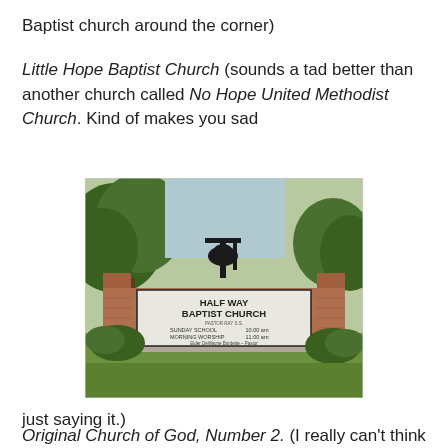Baptist church around the corner)
Little Hope Baptist Church (sounds a tad better than another church called No Hope United Methodist Church. Kind of makes you sad
[Figure (photo): Photo of a brick church sign reading 'HALF WAY BAPTIST CHURCH' with a bell on top, surrounded by green grass and trees. Sign shows Sunday School 10:00 am, Morning Worship 11:00 am, Elder DeWayne Burdette - Pastor]
just saying it.)
Original Church of God, Number 2.  (I really can't think of